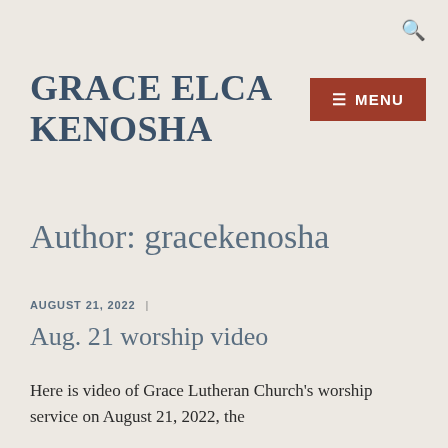🔍
GRACE ELCA KENOSHA
≡ MENU
Author: gracekenosha
AUGUST 21, 2022  |
Aug. 21 worship video
Here is video of Grace Lutheran Church's worship service on August 21, 2022, the